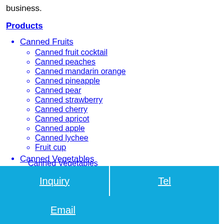business.
Products
Canned Fruits
Canned fruit cocktail
Canned peaches
Canned mandarin orange
Canned pineapple
Canned pear
Canned strawberry
Canned cherry
Canned apricot
Canned apple
Canned lychee
Fruit cup
Canned Vegetables
Canned Asparagus
Canned Mushrooms
Canned Vegetables
Corn
Chestnuts
Inquiry | Tel | Email